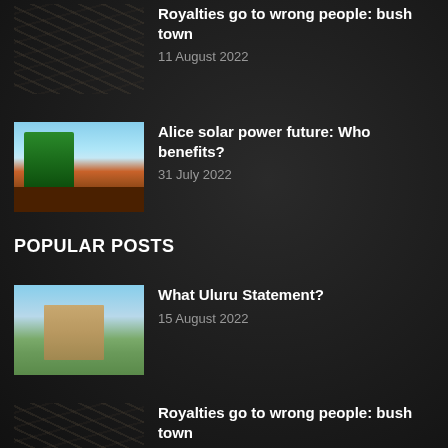[Figure (photo): Aerial view of rocky/sandy terrain, partially visible at top of page]
Royalties go to wrong people: bush town
11 August 2022
[Figure (photo): Solar power machinery/crane on red dirt with blue sky]
Alice solar power future: Who benefits?
31 July 2022
POPULAR POSTS
[Figure (photo): Church building with trees in outback setting]
What Uluru Statement?
15 August 2022
[Figure (photo): Aerial view of rocky/sandy terrain]
Royalties go to wrong people: bush town
11 August 2022